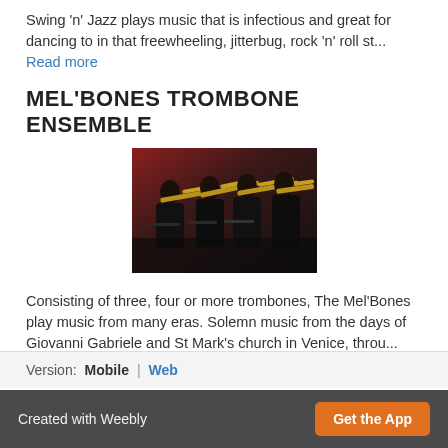Swing 'n' Jazz plays music that is infectious and great for dancing to in that freewheeling, jitterbug, rock 'n' roll st...
Read more
MEL'BONES TROMBONE ENSEMBLE
[Figure (photo): Photo of musicians playing trombones on a dark stage with red background]
Consisting of three, four or more trombones, The Mel'Bones play music from many eras. Solemn music from the days of Giovanni Gabriele and St Mark's church in Venice, throu...
Read more
Version: Mobile | Web
Created with Weebly  Get the App